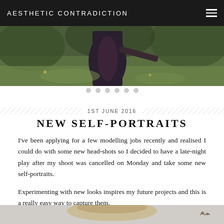AESTHETIC CONTRADICTION
[Figure (photo): Outdoor photo showing a person in a dark floral dress standing on grass with trees/foliage in background]
1ST JUNE 2016
NEW SELF-PORTRAITS
I've been applying for a few modelling jobs recently and realised I could do with some new head-shots so I decided to have a late-night play after my shoot was cancelled on Monday and take some new self-portraits.
Experimenting with new looks inspires my future projects and this is a really easy way to capture them.
[Figure (photo): Partial view of a person's head/hair against a light grey background with small decorative elements visible]